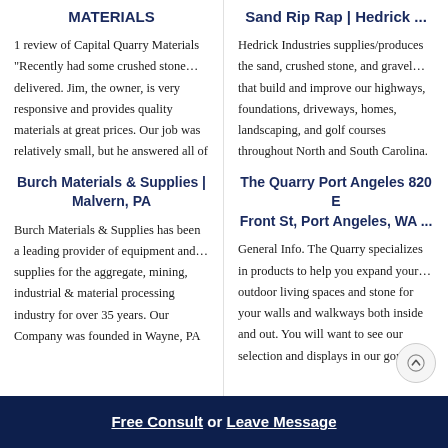MATERIALS
1 review of Capital Quarry Materials "Recently had some crushed stone… delivered. Jim, the owner, is very responsive and provides quality materials at great prices. Our job was relatively small, but he answered all of
Sand Rip Rap | Hedrick ...
Hedrick Industries supplies/produces the sand, crushed stone, and gravel… that build and improve our highways, foundations, driveways, homes, landscaping, and golf courses throughout North and South Carolina.
Burch Materials & Supplies | Malvern, PA
Burch Materials & Supplies has been a leading provider of equipment and… supplies for the aggregate, mining, industrial & material processing industry for over 35 years. Our Company was founded in Wayne, PA
The Quarry Port Angeles 820 E Front St, Port Angeles, WA ...
General Info. The Quarry specializes in products to help you expand your… outdoor living spaces and stone for your walls and walkways both inside and out. You will want to see our selection and displays in our gorgeous
Free Consult  or  Leave Message